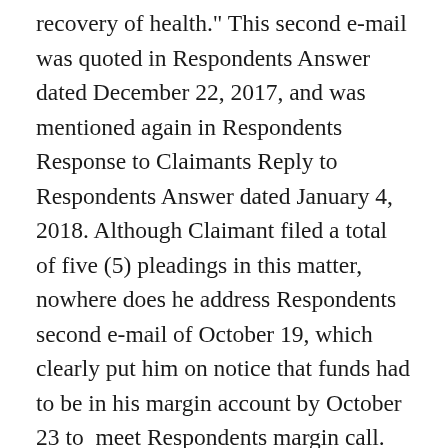recovery of health." This second e-mail was quoted in Respondents Answer dated December 22, 2017, and was mentioned again in Respondents Response to Claimants Reply to Respondents Answer dated January 4, 2018. Although Claimant filed a total of five (5) pleadings in this matter, nowhere does he address Respondents second e-mail of October 19, which clearly put him on notice that funds had to be in his margin account by October 23 to  meet Respondents margin call. Respondent's comment, in the first e-mail of October 19, that they "have noted your account of your planned deposit, does not constitute a waiver of any requirement that the funds had to be in Claimants account by October 23. Any doubt in Claimants mind should have been removed by the second e-mail quoted above, along with the numerous phone calls Claimant apparently made during the days preceding October 23, as well